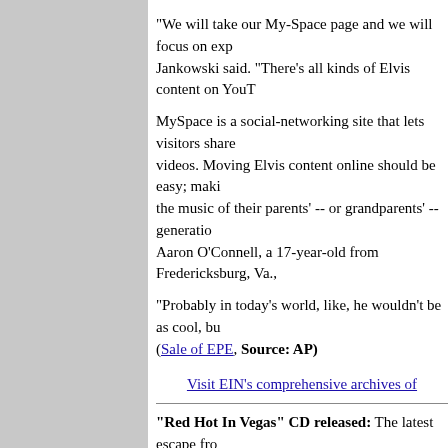"We will take our My-Space page and we will focus on exp... Jankowski said. "There's all kinds of Elvis content on YouT...
MySpace is a social-networking site that lets visitors share videos. Moving Elvis content online should be easy; maki... the music of their parents' -- or grandparents' -- generatio... Aaron O'Connell, a 17-year-old from Fredericksburg, Va., ...
"Probably in today's world, like, he wouldn't be as cool, bu... (Sale of EPE, Source: AP)
Visit EIN's comprehensive archives of
"Red Hot In Vegas" CD released: The latest escape fro... entitled "Red Hot In Vegas" featuring the Las Vegas Augu... has been released.
Just like all previous releases from this label, this CD com... 16-page booklet, containing a collection of photographs fr... 1972 Las Vegas engagement (both on-stage and candid ... notes with an "Elvis in 1972" overview, as well as details a... Summer Festival.
This recording comes from an early generation copy of th... master tape, and the sound quality is VG+ for an amateu...